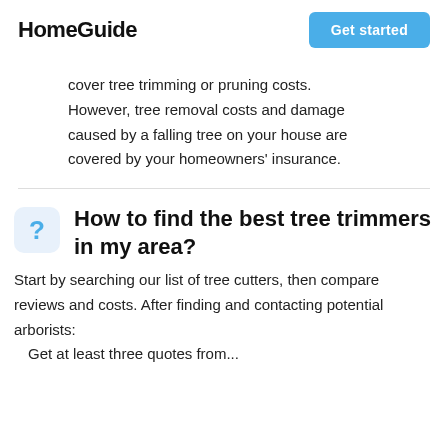HomeGuide | Get started
cover tree trimming or pruning costs. However, tree removal costs and damage caused by a falling tree on your house are covered by your homeowners' insurance.
How to find the best tree trimmers in my area?
Start by searching our list of tree cutters, then compare reviews and costs. After finding and contacting potential arborists:
Get at least three quotes from...